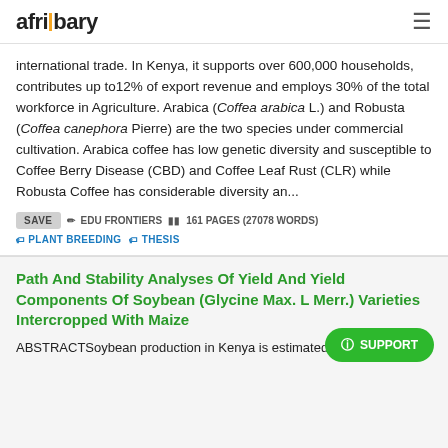afribary
international trade. In Kenya, it supports over 600,000 households, contributes up to12% of export revenue and employs 30% of the total workforce in Agriculture. Arabica (Coffea arabica L.) and Robusta (Coffea canephora Pierre) are the two species under commercial cultivation. Arabica coffee has low genetic diversity and susceptible to Coffee Berry Disease (CBD) and Coffee Leaf Rust (CLR) while Robusta Coffee has considerable diversity an...
SAVE  EDU FRONTIERS  161 PAGES (27078 WORDS)  PLANT BREEDING  THESIS
Path And Stability Analyses Of Yield And Yield Components Of Soybean (Glycine Max. L Merr.) Varieties Intercropped With Maize
ABSTRACTSoybean production in Kenya is estimated at